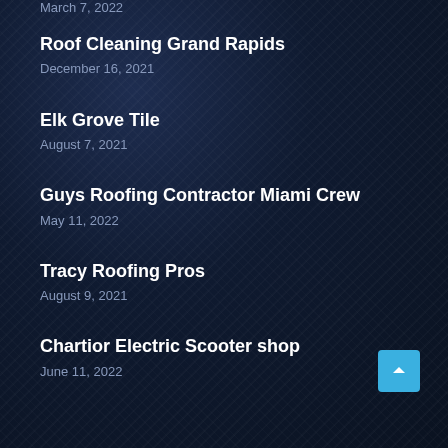March 7, 2022
Roof Cleaning Grand Rapids
December 16, 2021
Elk Grove Tile
August 7, 2021
Guys Roofing Contractor Miami Crew
May 11, 2022
Tracy Roofing Pros
August 9, 2021
Chartior Electric Scooter shop
June 11, 2022